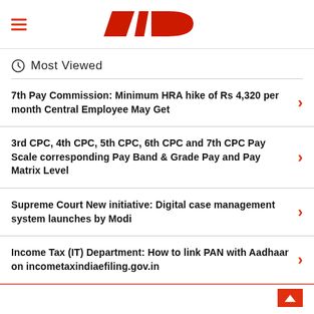Daily News website header with hamburger menu and logo
Most Viewed
7th Pay Commission: Minimum HRA hike of Rs 4,320 per month Central Employee May Get
3rd CPC, 4th CPC, 5th CPC, 6th CPC and 7th CPC Pay Scale corresponding Pay Band & Grade Pay and Pay Matrix Level
Supreme Court New initiative: Digital case management system launches by Modi
Income Tax (IT) Department: How to link PAN with Aadhaar on incometaxindiaefiling.gov.in